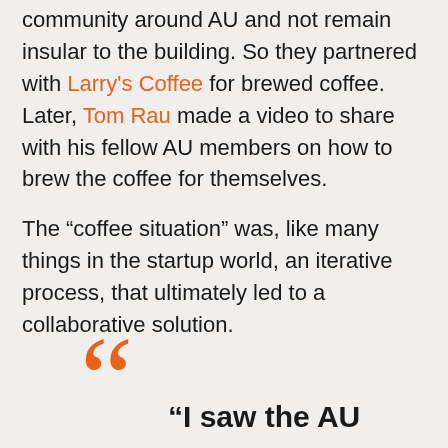community around AU and not remain insular to the building. So they partnered with Larry's Coffee for brewed coffee. Later, Tom Rau made a video to share with his fellow AU members on how to brew the coffee for themselves.
The “coffee situation” was, like many things in the startup world, an iterative process, that ultimately led to a collaborative solution.
“I saw the AU